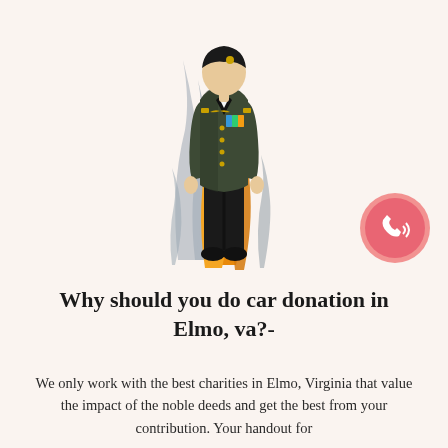[Figure (illustration): Illustrated military soldier in dark dress uniform with medals and insignia, standing in front of stylized orange and grey flame/leaf shapes on a light peach background. A pink circular phone icon appears in the lower right of the illustration area.]
Why should you do car donation in Elmo, va?-
We only work with the best charities in Elmo, Virginia that value the impact of the noble deeds and get the best from your contribution. Your handout for